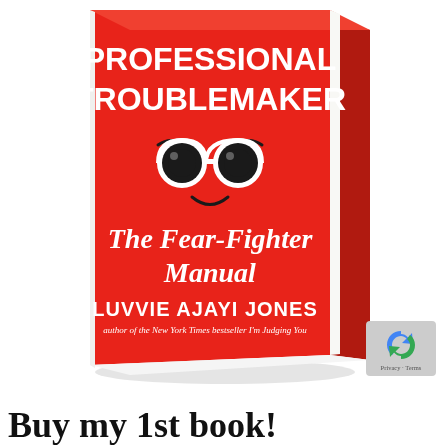[Figure (illustration): 3D book cover of 'Professional Troublemaker: The Fear-Fighter Manual' by Luvvie Ajayi Jones, red cover with glasses cartoon face, shown at an angle with spine visible]
Buy my 1st book!